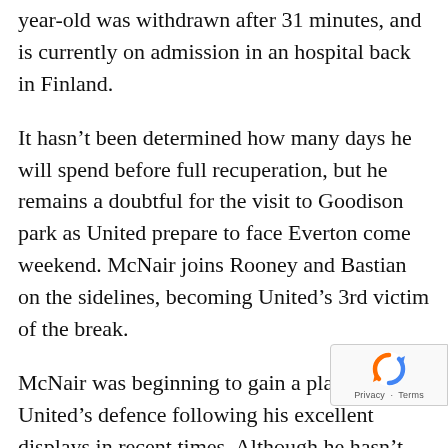year-old was withdrawn after 31 minutes, and is currently on admission in an hospital back in Finland.
It hasn't been determined how many days he will spend before full recuperation, but he remains a doubtful for the visit to Goodison park as United prepare to face Everton come weekend. McNair joins Rooney and Bastian on the sidelines, becoming United's 3rd victim of the break.
McNair was beginning to gain a place in the United's defence following his excellent displays in recent times. Although he hasn't seen much of action this season, but he was frequently called into action last season, and Louis van Gaal will be looking to feature him more this term after helping Finland qualify for next year's European games. McNair, despite his age was a regular part of the Fins squad that secured qualification, and